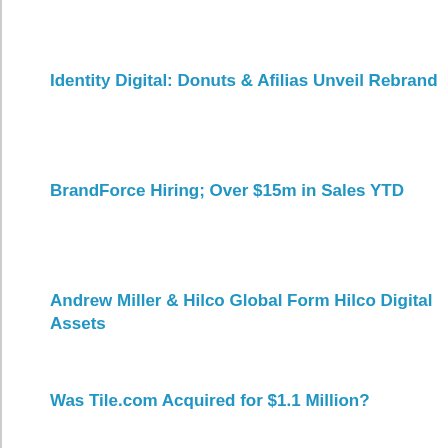Identity Digital: Donuts & Afilias Unveil Rebrand
BrandForce Hiring; Over $15m in Sales YTD
Andrew Miller & Hilco Global Form Hilco Digital Assets
Was Tile.com Acquired for $1.1 Million?